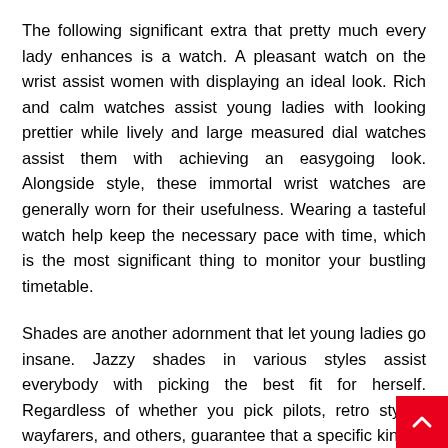The following significant extra that pretty much every lady enhances is a watch. A pleasant watch on the wrist assist women with displaying an ideal look. Rich and calm watches assist young ladies with looking prettier while lively and large measured dial watches assist them with achieving an easygoing look. Alongside style, these immortal wrist watches are generally worn for their usefulness. Wearing a tasteful watch help keep the necessary pace with time, which is the most significant thing to monitor your bustling timetable.
Shades are another adornment that let young ladies go insane. Jazzy shades in various styles assist everybody with picking the best fit for herself. Regardless of whether you pick pilots, retro styles, wayfarers, and others, guarantee that a specific kind of shade suits your face cut. For keeping your design proclamation right, pick a shade that looks great all over and help shield